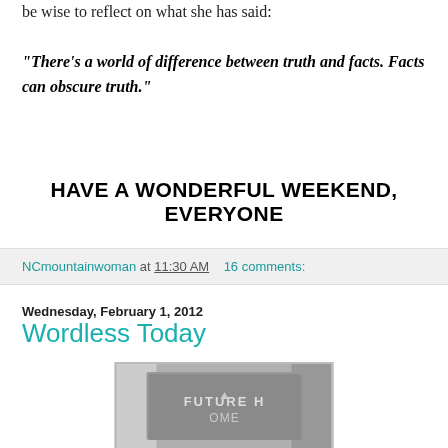be wise to reflect on what she has said:
"There's a world of difference between truth and facts. Facts can obscure truth."
HAVE A WONDERFUL WEEKEND, EVERYONE
NCmountainwoman at 11:30 AM    16 comments:
Wednesday, February 1, 2012
Wordless Today
[Figure (photo): Photo of a sign reading FUTURE HOME with additional text below, set against a building exterior]